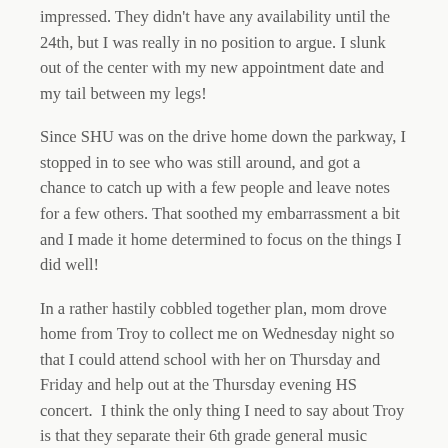impressed. They didn't have any availability until the 24th, but I was really in no position to argue. I slunk out of the center with my new appointment date and my tail between my legs!
Since SHU was on the drive home down the parkway, I stopped in to see who was still around, and got a chance to catch up with a few people and leave notes for a few others. That soothed my embarrassment a bit and I made it home determined to focus on the things I did well!
In a rather hastily cobbled together plan, mom drove home from Troy to collect me on Wednesday night so that I could attend school with her on Thursday and Friday and help out at the Thursday evening HS concert.  I think the only thing I need to say about Troy is that they separate their 6th grade general music classes into boys and girls, so mom either has a class of 20 11/12 year old boys or girls. WHY. WHY WOULD THEY